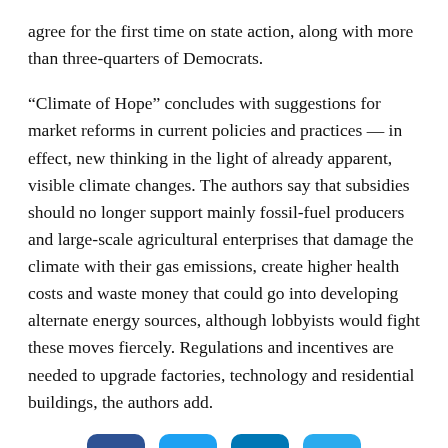agree for the first time on state action, along with more than three-quarters of Democrats.
“Climate of Hope” concludes with suggestions for market reforms in current policies and practices — in effect, new thinking in the light of already apparent, visible climate changes. The authors say that subsidies should no longer support mainly fossil-fuel producers and large-scale agricultural enterprises that damage the climate with their gas emissions, create higher health costs and waste money that could go into developing alternate energy sources, although lobbyists would fight these moves fiercely. Regulations and incentives are needed to upgrade factories, technology and residential buildings, the authors add.
[Figure (other): Social media sharing buttons: Facebook, Twitter, LinkedIn, Telegram]